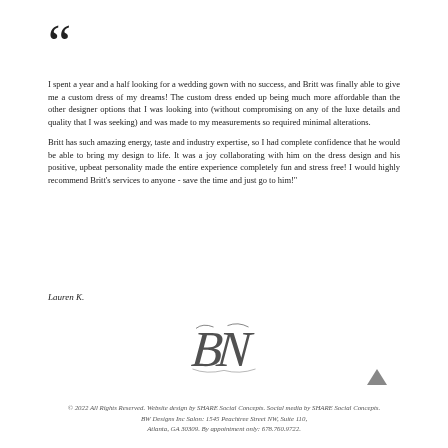[Figure (illustration): Large decorative open quotation marks]
I spent a year and a half looking for a wedding gown with no success, and Britt was finally able to give me a custom dress of my dreams! The custom dress ended up being much more affordable than the other designer options that I was looking into (without compromising on any of the luxe details and quality that I was seeking) and was made to my measurements so required minimal alterations.

Britt has such amazing energy, taste and industry expertise, so I had complete confidence that he would be able to bring my design to life. It was a joy collaborating with him on the dress design and his positive, upbeat personality made the entire experience completely fun and stress free! I would highly recommend Britt's services to anyone - save the time and just go to him!"
Lauren K.
[Figure (logo): BN monogram logo in script style]
[Figure (illustration): Small dark triangle pointing up]
© 2022 All Rights Reserved. Website design by SHARE Social Concepts. Social media by SHARE Social Concepts. BW Designs Inc Salon: 1545 Peachtree Street NW, Suite 110, Atlanta, GA 30309. By appointment only: 678.760.9722.